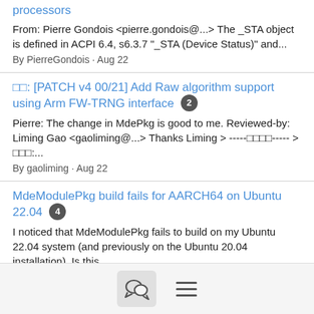processors
From: Pierre Gondois <pierre.gondois@...> The _STA object is defined in ACPI 6.4, s6.3.7 "_STA (Device Status)" and...
By PierreGondois · Aug 22
□□: [PATCH v4 00/21] Add Raw algorithm support using Arm FW-TRNG interface [2]
Pierre: The change in MdePkg is good to me. Reviewed-by: Liming Gao <gaoliming@...> Thanks Liming > -----□□□□----- > □□□:...
By gaoliming · Aug 22
MdeModulePkg build fails for AARCH64 on Ubuntu 22.04 [4]
I noticed that MdeModulePkg fails to build on my Ubuntu 22.04 system (and previously on the Ubuntu 20.04 installation). Is this...
By Rebecca Cran · Aug 22
[PATCH v1 1/1] ShellPkg: Adds Local APIC parser to AcpiView [x]